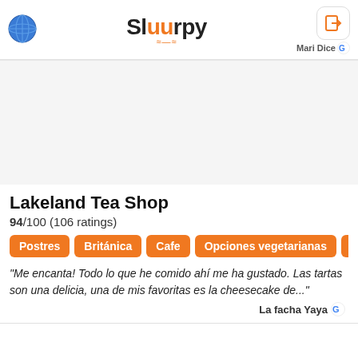Sluurpy
Lakeland Tea Shop
94/100 (106 ratings)
Postres
Británica
Cafe
Opciones vegetarianas
Opcio...
"Me encanta! Todo lo que he comido ahí me ha gustado. Las tartas son una delicia, una de mis favoritas es la cheesecake de..."
La facha Yaya